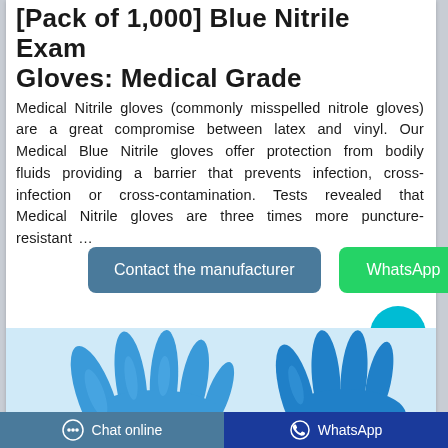[Pack of 1,000] Blue Nitrile Exam Gloves: Medical Grade
Medical Nitrile gloves (commonly misspelled nitrole gloves) are a great compromise between latex and vinyl. Our Medical Blue Nitrile gloves offer protection from bodily fluids providing a barrier that prevents infection, cross-infection or cross-contamination. Tests revealed that Medical Nitrile gloves are three times more puncture-resistant …
[Figure (screenshot): Two blue buttons: 'Contact the manufacturer' (blue-grey) and 'WhatsApp' (green)]
[Figure (photo): Blue nitrile exam gloves displayed against light blue background]
Chat online | WhatsApp